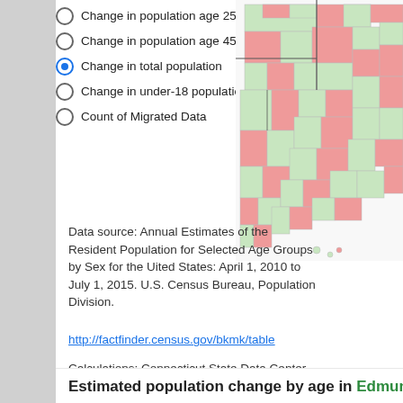Change in population age 25 to 44
Change in population age 45 to 64
Change in total population (selected)
Change in under-18 population
Count of Migrated Data
[Figure (map): US county-level choropleth map showing estimated population change, counties colored green (positive) or red/pink (negative), western US states visible]
Data source: Annual Estimates of the Resident Population for Selected Age Groups by Sex for the Uited States: April 1, 2010 to July 1, 2015. U.S. Census Bureau, Population Division.
http://factfinder.census.gov/bkmk/table
Calculations: Connecticut State Data Center
Estimated population change by age in Edmunds C